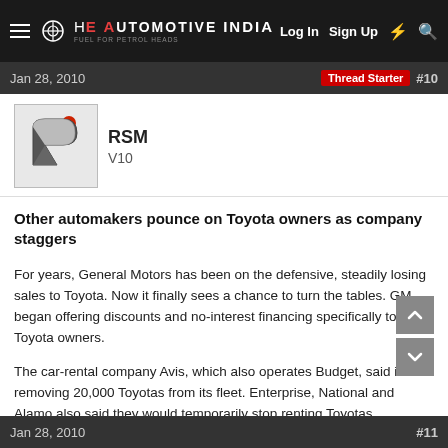HE AUTOMOTIVE INDIA — Log In  Sign Up  ⚡  🔍
Jan 28, 2010   Thread Starter  #10
RSM
V10
Other automakers pounce on Toyota owners as company staggers
For years, General Motors has been on the defensive, steadily losing sales to Toyota. Now it finally sees a chance to turn the tables. GM began offering discounts and no-interest financing specifically to Toyota owners.
The car-rental company Avis, which also operates Budget, said it was removing 20,000 Toyotas from its fleet. Enterprise, National and Alamo also said they would temporarily stop renting Toyotas.
Details
Jan 28, 2010   #11